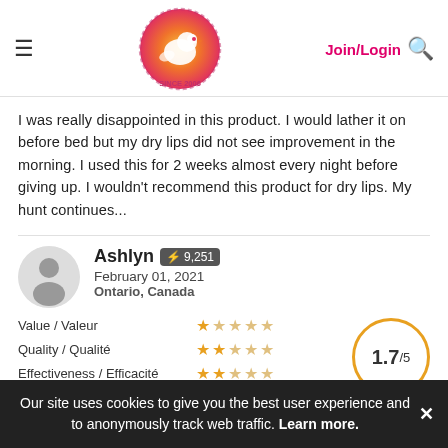ChickAdvisor — Join/Login
I was really disappointed in this product. I would lather it on before bed but my dry lips did not see improvement in the morning. I used this for 2 weeks almost every night before giving up. I wouldn't recommend this product for dry lips. My hunt continues...
Ashlyn ⚡ 9,251
February 01, 2021
Ontario, Canada
Value / Valeur — 1 star
Quality / Qualité — 2 stars
Effectiveness / Efficacité — 2 stars
Overall: 1.7/5
Our site uses cookies to give you the best user experience and to anonymously track web traffic. Learn more.